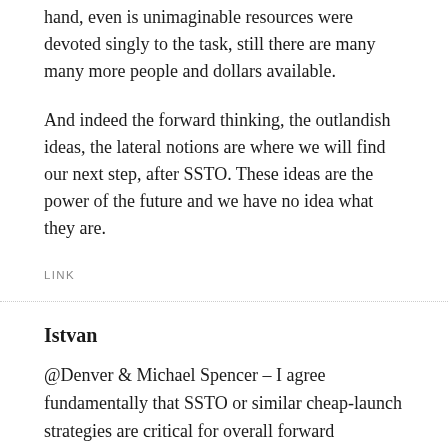hand, even is unimaginable resources were devoted singly to the task, still there are many many more people and dollars available.
And indeed the forward thinking, the outlandish ideas, the lateral notions are where we will find our next step, after SSTO. These ideas are the power of the future and we have no idea what they are.
LINK
Istvan
@Denver & Michael Spencer – I agree fundamentally that SSTO or similar cheap-launch strategies are critical for overall forward progress. However, based on the last 35 years, I am becoming convinced that NASA is not the place